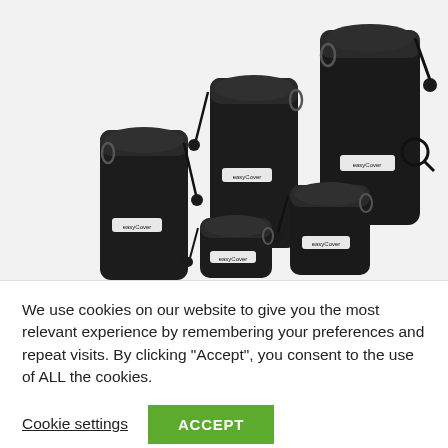Black
[Figure (photo): Five black EasyCover neoprene lens pouches of varying sizes arranged together, each with drawstring closure and carabiner clip, all branded with EasyCover logo.]
We use cookies on our website to give you the most relevant experience by remembering your preferences and repeat visits. By clicking “Accept”, you consent to the use of ALL the cookies.
Cookie settings
ACCEPT